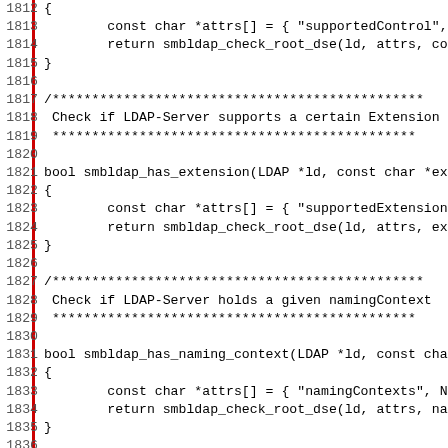Source code listing, lines 1812-1843, C code for smbldap functions including smbldap_has_extension, smbldap_has_naming_context, and smbldap_set_creds